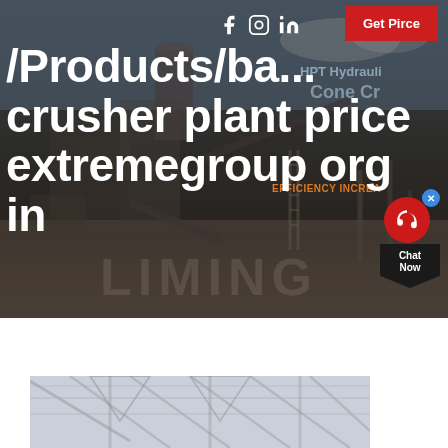[Figure (photo): Hero background: industrial crusher plant / mining equipment facility with machinery, conveyor belts, and equipment under a partly cloudy sky. Dark overlay with social media icons (Facebook, Instagram, LinkedIn), a red 'Get Pirce' button, efficiency text overlay, hydraulic cone crusher branding text, and a chat widget in the bottom right corner.]
/Products/ba... crusher plant price extremegroup org in
[Figure (photo): Partial bottom image showing interior of an industrial/warehouse building with metal roof trusses and structural steel framing visible.]